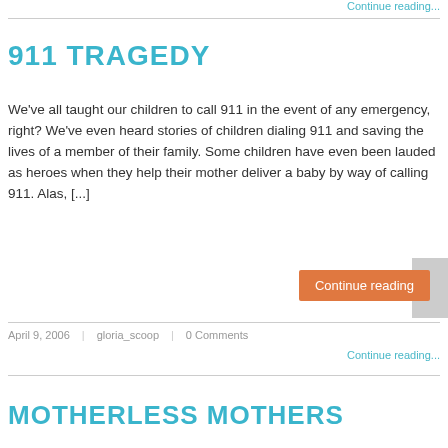Continue reading...
911 TRAGEDY
We've all taught our children to call 911 in the event of any emergency, right? We've even heard stories of children dialing 911 and saving the lives of a member of their family. Some children have even been lauded as heroes when they help their mother deliver a baby by way of calling 911. Alas, [...]
Continue reading
April 9, 2006 | gloria_scoop | 0 Comments
Continue reading...
MOTHERLESS MOTHERS